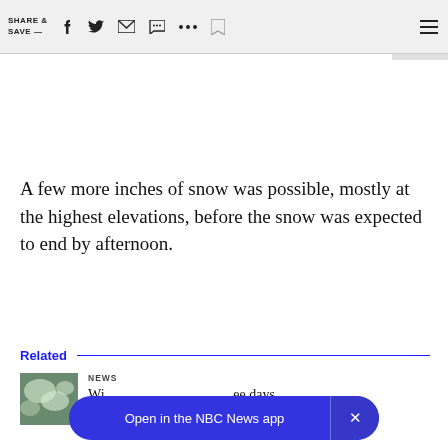SHARE & SAVE —  [social icons: facebook, twitter, email, message, more, bookmark, menu]
A few more inches of snow was possible, mostly at the highest elevations, before the snow was expected to end by afternoon.
Related
NEWS
Wi... ee days
Open in the NBC News app  ×